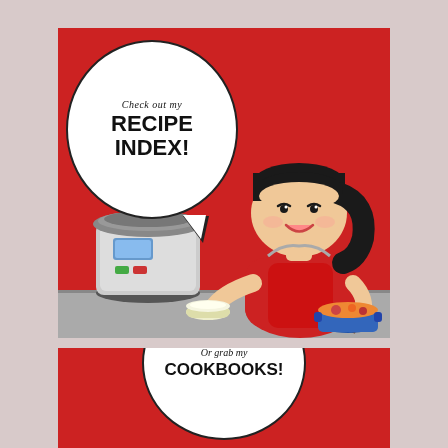[Figure (illustration): Comic-style illustration: Top panel with red background showing a cartoon girl with dark hair holding a bowl and stirring a pot, next to an Instant Pot/pressure cooker on a gray counter. A large white speech bubble reads 'Check out my RECIPE INDEX!'. Bottom panel shows the top of another speech bubble reading 'Or grab my COOKBOOKS!' with a mirrored reflection text visible.]